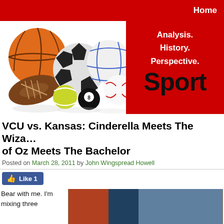Home
[Figure (illustration): Sports balls banner with basketball, football, soccer ball, tennis ball, billiard ball, volleyball, and baseball arranged together with reflections on white background, alongside a red banner with text 'Analysis. History. Perspective. Sport']
VCU vs. Kansas: Cinderella Meets The Wizard of Oz Meets The Bachelor
Posted on March 28, 2011 by John Wingspread Howell
[Figure (photo): Like button widget showing thumbs up icon and count of 1]
Bear with me. I'm mixing three
[Figure (photo): Partial photo of what appears to be a sports scene]